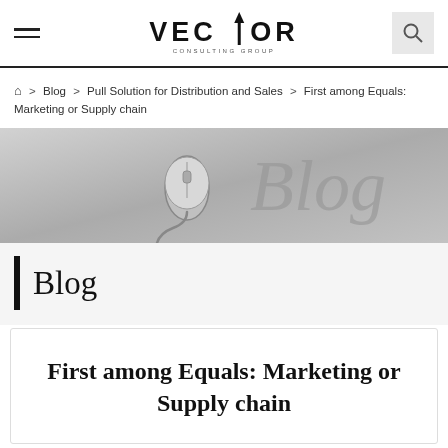VECTOR CONSULTING GROUP
Home > Blog > Pull Solution for Distribution and Sales > First among Equals: Marketing or Supply chain
[Figure (photo): Blog banner image with a computer mouse and cursive 'Blog' script text on a grey gradient background]
Blog
First among Equals: Marketing or Supply chain